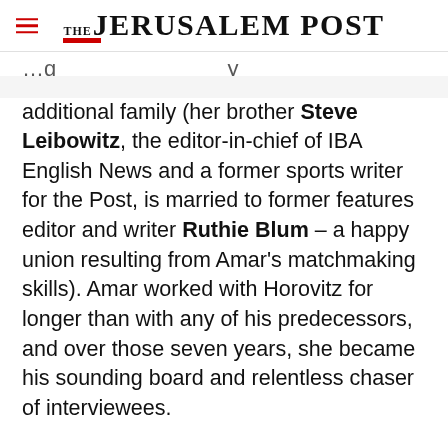THE JERUSALEM POST
additional family (her brother Steve Leibowitz, the editor-in-chief of IBA English News and a former sports writer for the Post, is married to former features editor and writer Ruthie Blum – a happy union resulting from Amar's matchmaking skills). Amar worked with Horovitz for longer than with any of his predecessors, and over those seven years, she became his sounding board and relentless chaser of interviewees.
Advertisement
[Figure (other): Reichman University Raphael Recanati International School advertisement banner with 'Apply online today' call-to-action button on dark background]